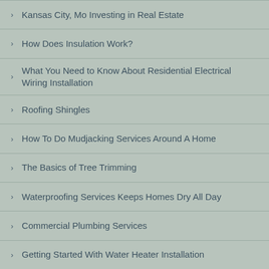Kansas City, Mo Investing in Real Estate
How Does Insulation Work?
What You Need to Know About Residential Electrical Wiring Installation
Roofing Shingles
How To Do Mudjacking Services Around A Home
The Basics of Tree Trimming
Waterproofing Services Keeps Homes Dry All Day
Commercial Plumbing Services
Getting Started With Water Heater Installation